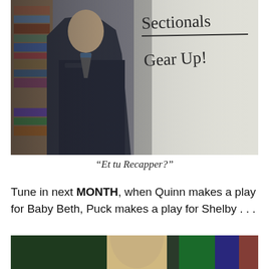[Figure (photo): A man in a dark jacket standing in front of a whiteboard that reads 'Sectionals Gear Up!' with bookshelves visible in the background]
“Et tu Recapper?”
Tune in next MONTH, when Quinn makes a play for Baby Beth, Puck makes a play for Shelby . . .
[Figure (photo): Partial photo at the bottom of the page, showing a person in a colorful background]